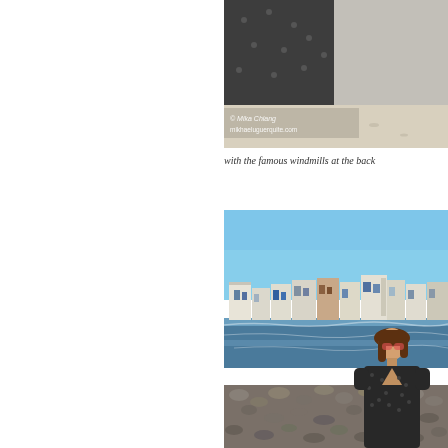[Figure (photo): Top cropped photo showing a person in a dark polka-dot dress at beach/outdoor location with sandy ground visible. Watermark reads '© Mika Chiang' and 'mikhaeluguerquite.com']
with the famous windmills at the back
[Figure (photo): Photo of a young woman wearing pink sunglasses and a dark polka-dot dress standing on a rocky beach. In the background is a row of white and colorful Greek island buildings (likely Mykonos Little Venice) by the sea, with clear blue sky above.]